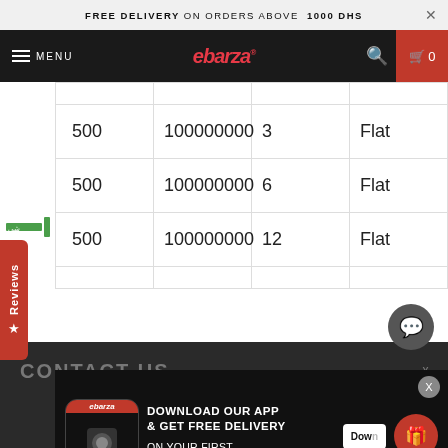FREE DELIVERY ON ORDERS ABOVE 1000 DHS
ebarza® MENU | Search | Cart 0
|  |  |  |  |
| --- | --- | --- | --- |
| 500 | 100000000 | 3 | Flat |
| 500 | 100000000 | 6 | Flat |
| 500 | 100000000 | 12 | Flat |
[Figure (screenshot): App download promotional popup: DOWNLOAD OUR APP & GET FREE DELIVERY ON YOUR FIRST ORDER IN UAE with app icon and Download button]
CONTACT US